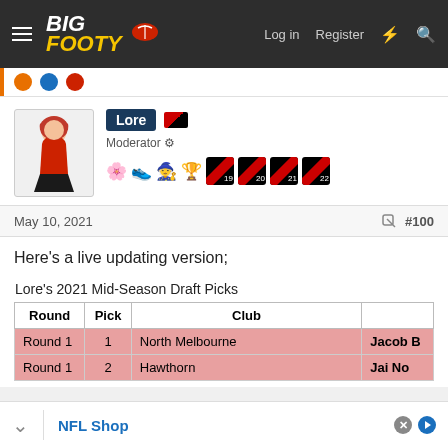BigFooty — Log in  Register
Lore
Moderator
May 10, 2021  #100
Here's a live updating version;
Lore's 2021 Mid-Season Draft Picks
| Round | Pick | Club |  |
| --- | --- | --- | --- |
| Round 1 | 1 | North Melbourne | Jacob B |
| Round 1 | 2 | Hawthorn | Jai No |